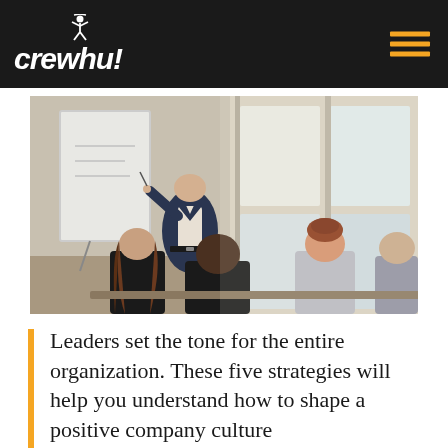crewhu!
[Figure (photo): Business meeting scene: a person in a suit stands at a whiteboard/flipchart presenting to a group of seated attendees viewed from behind, in a bright office with large windows]
Leaders set the tone for the entire organization. These five strategies will help you understand how to shape a positive company culture